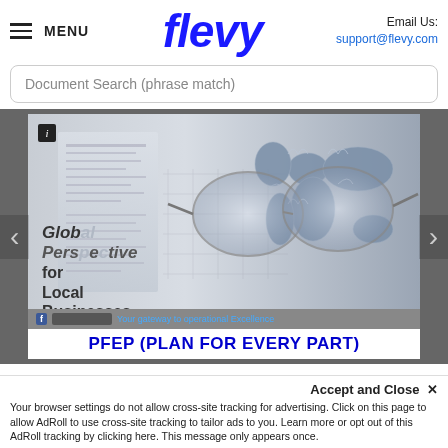[Figure (logo): Flevy logo — bold italic blue wordmark 'flevy']
≡ MENU
Email Us: support@flevy.com
Document Search (phrase match)
[Figure (screenshot): Website carousel slide showing a globe/world map puzzle image with glasses, overlaid text 'Global Perspective for Local Businesses', and a blue bold title 'PFEP (PLAN FOR EVERY PART)' at the bottom of the slide.]
Accept and Close ✕
Your browser settings do not allow cross-site tracking for advertising. Click on this page to allow AdRoll to use cross-site tracking to tailor ads to you. Learn more or opt out of this AdRoll tracking by clicking here. This message only appears once.